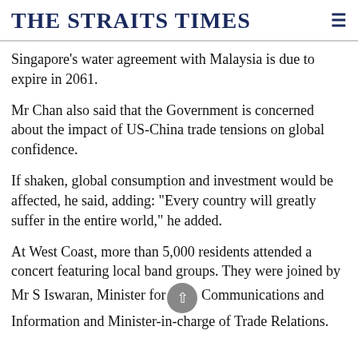THE STRAITS TIMES
Singapore's water agreement with Malaysia is due to expire in 2061.
Mr Chan also said that the Government is concerned about the impact of US-China trade tensions on global confidence.
If shaken, global consumption and investment would be affected, he said, adding: "Every country will greatly suffer in the entire world," he added.
At West Coast, more than 5,000 residents attended a concert featuring local band groups. They were joined by Mr S Iswaran, Minister for Communications and Information and Minister-in-charge of Trade Relations.